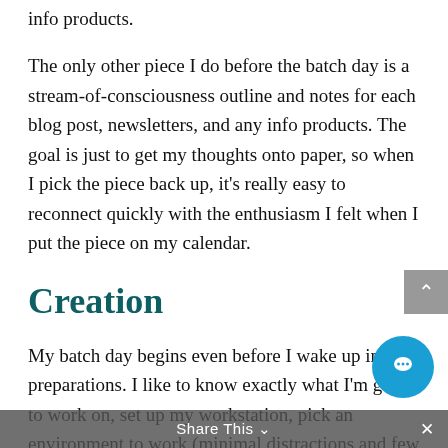info products.
The only other piece I do before the batch day is a stream-of-consciousness outline and notes for each blog post, newsletters, and any info products. The goal is just to get my thoughts onto paper, so when I pick the piece back up, it's really easy to reconnect quickly with the enthusiasm I felt when I put the piece on my calendar.
Creation
My batch day begins even before I wake up in the preparations. I like to know exactly what I'm going to work on, set up my workstation, pick an environment to work (minimal distractions and few different work surfaces), stock up on healthy/yummy food, decide on rewards for
Share This ∨